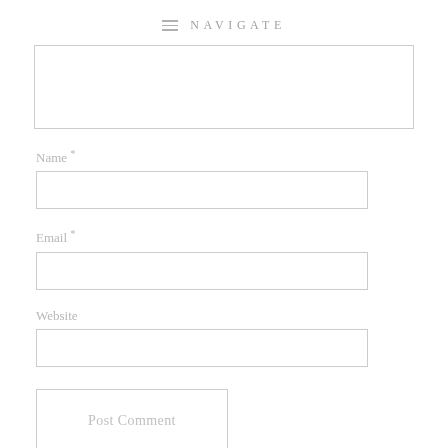NAVIGATE
[Figure (screenshot): Comment textarea input field (empty)]
Name *
[Figure (screenshot): Name input field (empty)]
Email *
[Figure (screenshot): Email input field (empty)]
Website
[Figure (screenshot): Website input field (empty)]
[Figure (screenshot): Post Comment button]